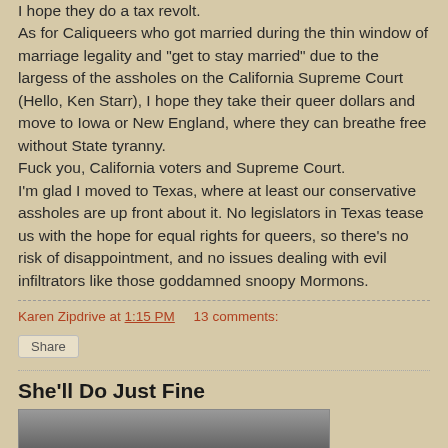I hope they do a tax revolt. As for Caliqueers who got married during the thin window of marriage legality and "get to stay married" due to the largess of the assholes on the California Supreme Court (Hello, Ken Starr), I hope they take their queer dollars and move to Iowa or New England, where they can breathe free without State tyranny.
Fuck you, California voters and Supreme Court.
I'm glad I moved to Texas, where at least our conservative assholes are up front about it. No legislators in Texas tease us with the hope for equal rights for queers, so there's no risk of disappointment, and no issues dealing with evil infiltrators like those goddamned snoopy Mormons.
Karen Zipdrive at 1:15 PM    13 comments:
Share
She'll Do Just Fine
[Figure (photo): A photo (partially visible) showing a person, cropped at the bottom of the page.]